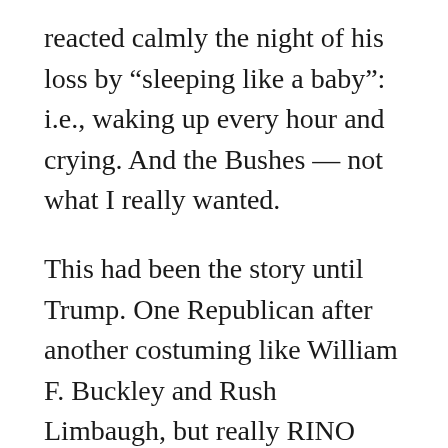reacted calmly the night of his loss by “sleeping like a baby”: i.e., waking up every hour and crying. And the Bushes — not what I really wanted.
This had been the story until Trump. One Republican after another costuming like William F. Buckley and Rush Limbaugh, but really RINO through and through. It was a world where we GOP voters could not get solid conservatives for whom to vote, just RINOs. But these were the only choices we had. So even Rush and Newt were endorsing these guys.
[Figure (other): A circular play button (video/audio player control) overlapping the beginning of the next paragraph.]
It was a GOP that was talking conservatism but giving us presidential candidates who, in truth,